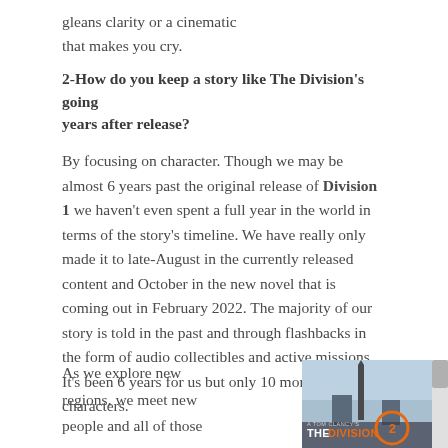gleans clarity or a cinematic that makes you cry.
2-How do you keep a story like The Division's going years after release?
By focusing on character. Though we may be almost 6 years past the original release of Division 1 we haven't even spent a full year in the world in terms of the story's timeline. We have really only made it to late-August in the currently released content and October in the new novel that is coming out in February 2022. The majority of our story is told in the past and through flashbacks in the form of audio collectibles and active missions. It's been 6 years for us but only 10 months for our characters.
As we explore new regions, we meet new people and all of those
[Figure (screenshot): Tom Clancy's The Division 2 game logo/promotional image with Washington Monument in background]